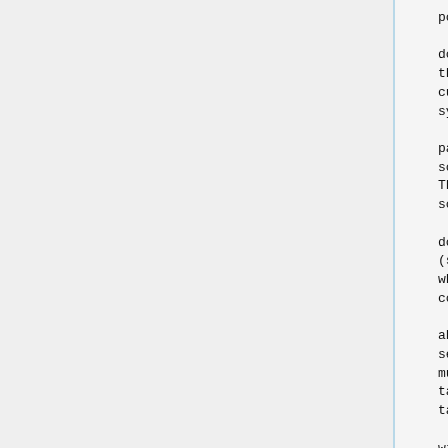positional arguments:
  source - fully qualified
domain of the host where
the files to be copied are
currently located, the
symbol ':', and a file
            or directory
path of such files (e.g.
sourcehost.wm.org:/srv ).
There can be only one
source host and path.
  target - fully qualified
domain of the hosts
(separated by spaces)
where the files will be
copied, each one with its
            destination
absolute path directory,
separated by ':'. There
must be at least one
target. If more than one
target
            is defined, it
will be copied to all of